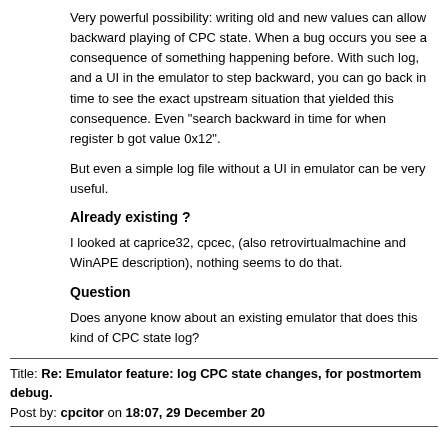Very powerful possibility: writing old and new values can allow backward playing of CPC state. When a bug occurs you see a consequence of something happening before. With such log, and a UI in the emulator to step backward, you can go back in time to see the exact upstream situation that yielded this consequence. Even "search backward in time for when register b got value 0x12".
But even a simple log file without a UI in emulator can be very useful.
Already existing ?
I looked at caprice32, cpcec, (also retrovirtualmachine and WinAPE description), nothing seems to do that.
Question
Does anyone know about an existing emulator that does this kind of CPC state log?
Title: Re: Emulator feature: log CPC state changes, for postmortem debug.
Post by: cpcitor on 18:07, 29 December 20
Floooh's emulator has a history of executed instructions available.
It's far from sufficient, just a hint at what can exist.
You can see it on https://floooh.github.io/tiny8bit/cpc-ui.html?type=cpc464 in menu "debug" choose "execution history".